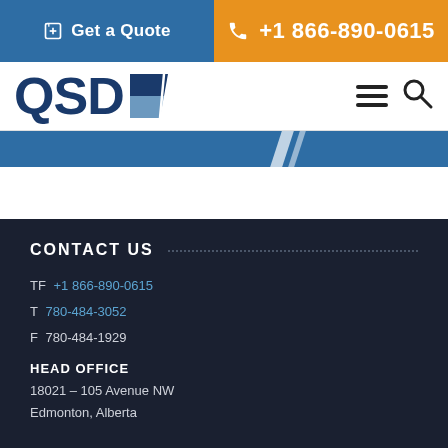[Figure (logo): QSD logo with stylized Q and document icon in dark navy blue]
Get a Quote | +1 866-890-0615
CONTACT US
TF +1 866-890-0615
T 780-484-3052
F 780-484-1929
HEAD OFFICE
18021 – 105 Avenue NW
Edmonton, Alberta